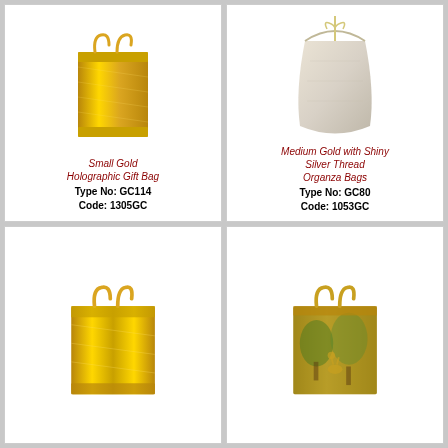[Figure (photo): Small gold holographic gift bag with rope handles]
Small Gold Holographic Gift Bag
Type No: GC114
Code: 1305GC
[Figure (photo): Medium gold organza bag with shiny silver thread drawstring]
Medium Gold with Shiny Silver Thread Organza Bags
Type No: GC80
Code: 1053GC
[Figure (photo): Medium gold holographic gift bag with rope handles]
[Figure (photo): Gold holographic gift bag with nature/safari print and rope handles]